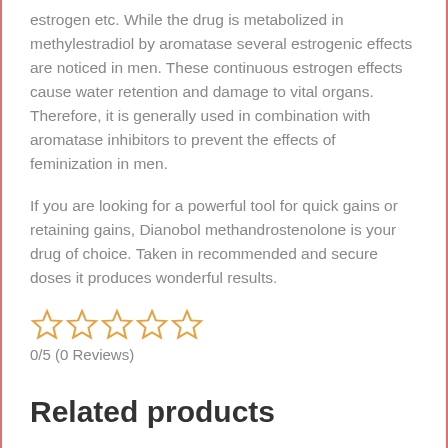estrogen etc. While the drug is metabolized in methylestradiol by aromatase several estrogenic effects are noticed in men. These continuous estrogen effects cause water retention and damage to vital organs. Therefore, it is generally used in combination with aromatase inhibitors to prevent the effects of feminization in men.
If you are looking for a powerful tool for quick gains or retaining gains, Dianobol methandrostenolone is your drug of choice. Taken in recommended and secure doses it produces wonderful results.
[Figure (other): Five star rating widget showing 0 out of 5 stars (all empty/outline stars)]
0/5 (0 Reviews)
Related products